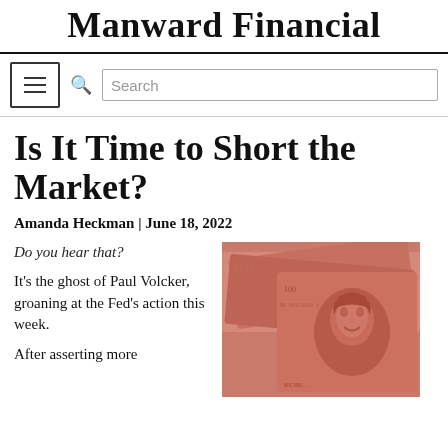Manward Financial
[Figure (screenshot): Navigation bar with hamburger menu icon and search box]
Is It Time to Short the Market?
Amanda Heckman | June 18, 2022
Do you hear that?
It's the ghost of Paul Volcker, groaning at the Fed's action this week.
[Figure (photo): Red-tinted image of US $100 dollar bills fanned out showing Benjamin Franklin's portrait]
After asserting more